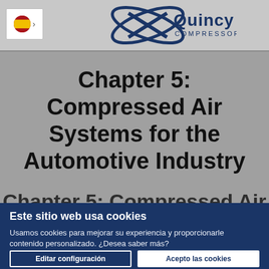Quincy Compressor logo and Spanish language selector
Chapter 5: Compressed Air Systems for the Automotive Industry
Chapter 5: Compressed Air Systems...
Este sitio web usa cookies
Usamos cookies para mejorar su experiencia y proporcionarle contenido personalizado. ¿Desea saber más?
Editar configuración
Acepto las cookies